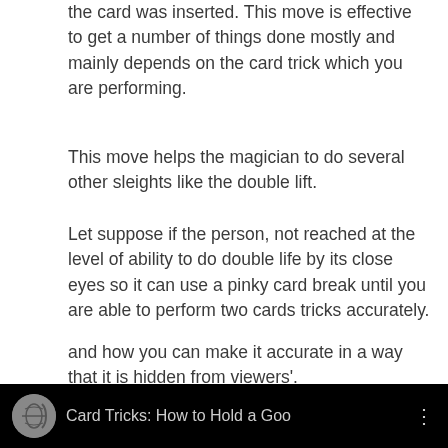the card was inserted. This move is effective to get a number of things done mostly and mainly depends on the card trick which you are performing.
This move helps the magician to do several other sleights like the double lift.
Let suppose if the person, not reached at the level of ability to do double life by its close eyes so it can use a pinky card break until you are able to perform two cards tricks accurately.
and how you can make it accurate in a way that it is hidden from viewers'.
[Figure (screenshot): Video thumbnail/bar showing 'Card Tricks: How to Hold a Goo...' with a circular icon on black background]